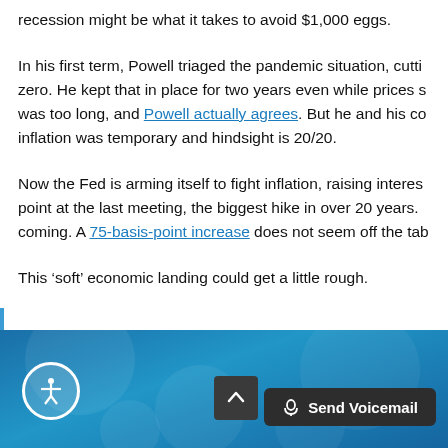recession might be what it takes to avoid $1,000 eggs.
In his first term, Powell triaged the pandemic situation, cutting rates to zero. He kept that in place for two years even while prices started rising — that was too long, and Powell actually agrees. But he and his colleagues believed inflation was temporary and hindsight is 20/20.
Now the Fed is arming itself to fight inflation, raising interest rates by 50 basis point at the last meeting, the biggest hike in over 20 years. More hikes are coming. A 75-basis-point increase does not seem off the table.
This ‘soft’ economic landing could get a little rough.
[Figure (screenshot): Blue gradient footer area with accessibility icon button (person in circle), scroll-to-top arrow button, and dark Send Voicemail button with microphone icon]